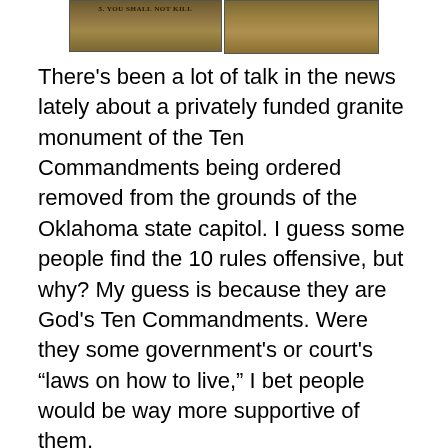[Figure (photo): Top portion of a granite Ten Commandments monument showing text '5. YOU SHALL NOT KILL' on two stone tablets side by side]
There's been a lot of talk in the news lately about a privately funded granite monument of the Ten Commandments being ordered removed from the grounds of the Oklahoma state capitol. I guess some people find the 10 rules offensive, but why? My guess is because they are God's Ten Commandments. Were they some government's or court's “laws on how to live,” I bet people would be way more supportive of them.
Think about it. What can anyone possibly have a problem with guidelines declaring you to respect your parents, not kill, not cheat on your spouse, not steal, not be envious, and not gossip? Well, surprise, those pretty much sum up